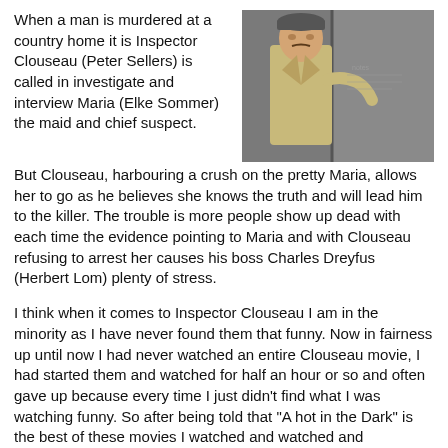When a man is murdered at a country home it is Inspector Clouseau (Peter Sellers) is called in investigate and interview Maria (Elke Sommer) the maid and chief suspect. But Clouseau, harbouring a crush on the pretty Maria, allows her to go as he believes she knows the truth and will lead him to the killer. The trouble is more people show up dead with each time the evidence pointing to Maria and with Clouseau refusing to arrest her causes his boss Charles Dreyfus (Herbert Lom) plenty of stress.
[Figure (photo): A man in a trench coat and beret peeking around a corner or wall, appearing to be Inspector Clouseau played by Peter Sellers.]
I think when it comes to Inspector Clouseau I am in the minority as I have never found them that funny. Now in fairness up until now I had never watched an entire Clouseau movie, I had started them and watched for half an hour or so and often gave up because every time I just didn't find what I was watching funny. So after being told that "A hot in the Dark" is the best of these movies I watched and watched and unfortunately finished having laughed but a handful of times.